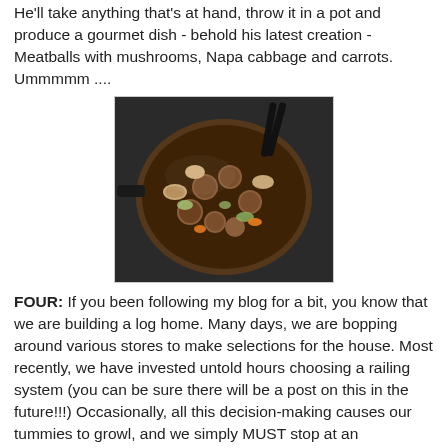He'll take anything that's at hand, throw it in a pot and produce a gourmet dish - behold his latest creation - Meatballs with mushrooms, Napa cabbage and carrots. Ummmmm ....
[Figure (photo): Overhead view of a pan with meatballs, mushrooms, Napa cabbage and carrots cooking together.]
FOUR: If you been following my blog for a bit, you know that we are building a log home. Many days, we are bopping around various stores to make selections for the house. Most recently, we have invested untold hours choosing a railing system (you can be sure there will be a post on this in the future!!!) Occasionally, all this decision-making causes our tummies to growl, and we simply MUST stop at an interesting-looking café along the way.
[Figure (photo): Sign for Somers Bay Cafe restaurant.]